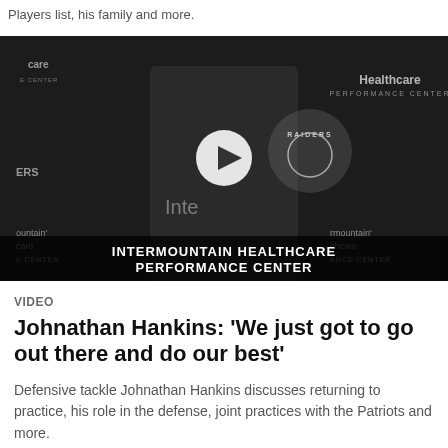Players list, his family and more.
[Figure (photo): Johnathan Hankins smiling at a press conference podium in front of a Raiders/Intermountain Healthcare Performance Center backdrop, with a play button overlay in the center. Lower banner reads: INTERMOUNTAIN HEALTHCARE PERFORMANCE CENTER]
VIDEO
Johnathan Hankins: 'We just got to go out there and do our best'
Defensive tackle Johnathan Hankins discusses returning to practice, his role in the defense, joint practices with the Patriots and more.